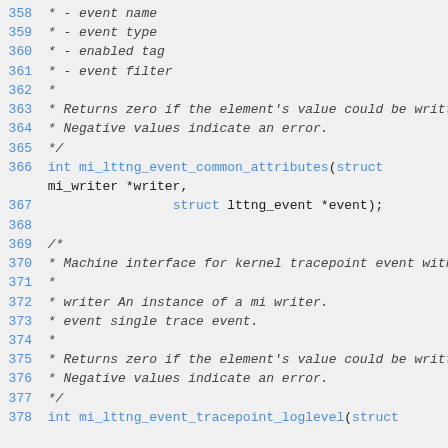Source code listing, lines 358-378, showing C header file documentation and function declarations for mi_lttng_event_common_attributes and mi_lttng_event_tracepoint_loglevel